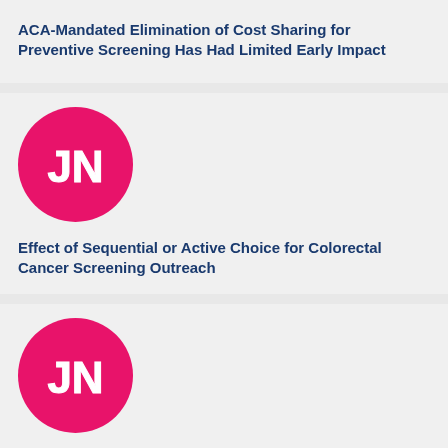ACA-Mandated Elimination of Cost Sharing for Preventive Screening Has Had Limited Early Impact
[Figure (logo): JN circular pink logo]
Effect of Sequential or Active Choice for Colorectal Cancer Screening Outreach
[Figure (logo): JN circular pink logo]
Effect of text messaging and behavioral interventions on COVID-19 vaccination uptake